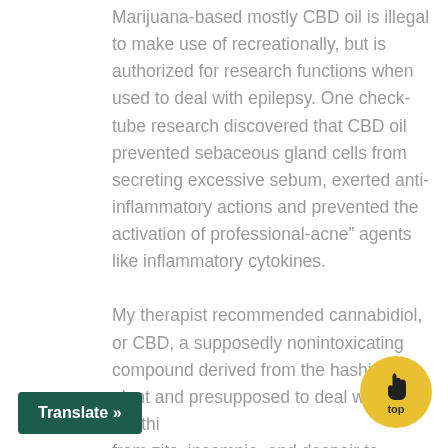Marijuana-based mostly CBD oil is illegal to make use of recreationally, but is authorized for research functions when used to deal with epilepsy. One check-tube research discovered that CBD oil prevented sebaceous gland cells from secreting excessive sebum, exerted anti-inflammatory actions and prevented the activation of professional-acne” agents like inflammatory cytokines.
My therapist recommended cannabidiol, or CBD, a supposedly nonintoxicating compound derived from the hashish plant and presupposed to deal with all the things from zits, insomnia, and despair to epilepsy, diabetes, and cancer. While there’s sleep
Translate »